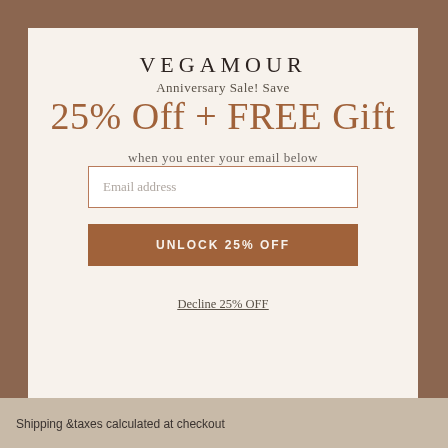VEGAMOUR
Anniversary Sale! Save
25% Off + FREE Gift
when you enter your email below
Email address
UNLOCK 25% OFF
Decline 25% OFF
Shipping & taxes calculated at checkout